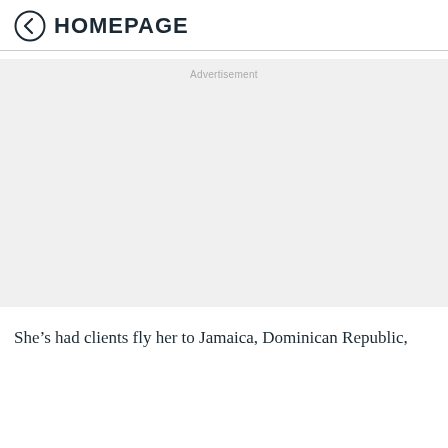HOMEPAGE
[Figure (other): Advertisement placeholder block with light gray background]
She’s had clients fly her to Jamaica, Dominican Republic,